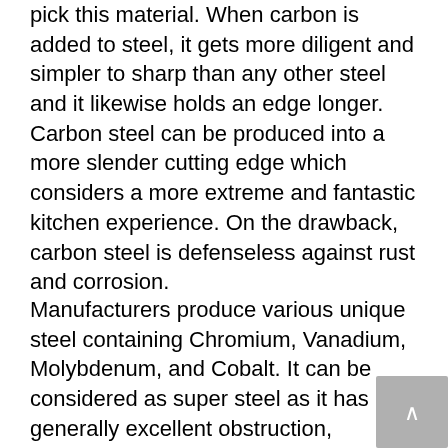pick this material. When carbon is added to steel, it gets more diligent and simpler to sharp than any other steel and it likewise holds an edge longer. Carbon steel can be produced into a more slender cutting edge which considers a more extreme and fantastic kitchen experience. On the drawback, carbon steel is defenseless against rust and corrosion.
Manufacturers produce various unique steel containing Chromium, Vanadium, Molybdenum, and Cobalt. It can be considered as super steel as it has generally excellent obstruction, sharpness, and toughness. If your financial plan permits, you can pick a great high carbon stainless steel that contains Molybdenum and Vanadium.